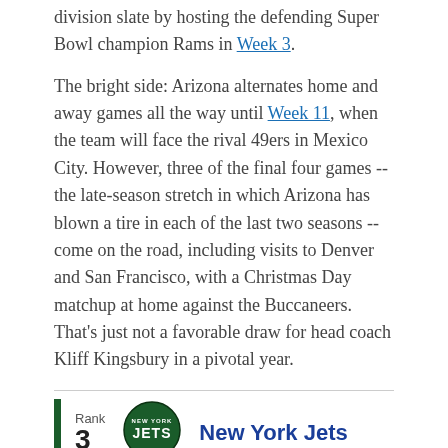division slate by hosting the defending Super Bowl champion Rams in Week 3.
The bright side: Arizona alternates home and away games all the way until Week 11, when the team will face the rival 49ers in Mexico City. However, three of the final four games -- the late-season stretch in which Arizona has blown a tire in each of the last two seasons -- come on the road, including visits to Denver and San Francisco, with a Christmas Day matchup at home against the Buccaneers. That's just not a favorable draw for head coach Kliff Kingsbury in a pivotal year.
Rank 3 New York Jets
[Figure (logo): New York Jets NFL team logo — green oval with JETS text and NEW YORK above]
[Figure (infographic): Social sharing icons: Facebook, Twitter, Email, Link]